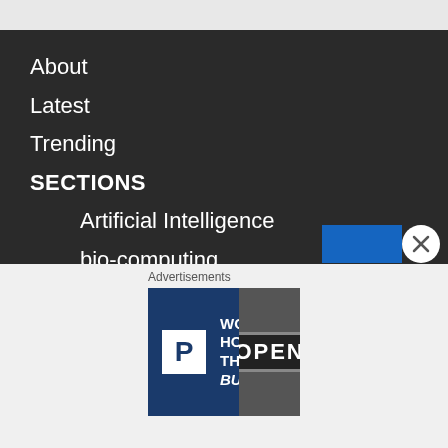About
Latest
Trending
SECTIONS
Artificial Intelligence
bio-computing
brain-computer interfaces
cancer
cardiology
immunology
infertility
Advertisements
[Figure (screenshot): WordPress Hosting advertisement banner with P logo on left and OPEN sign photo on right. Text: WORDPRESS HOSTING THAT MEANS BUSINESS.]